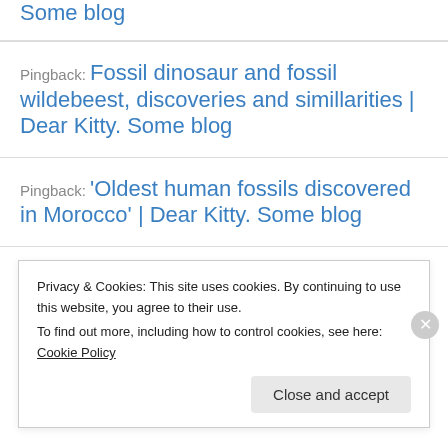Some blog (partial, top of page, link)
Pingback: Fossil dinosaur and fossil wildebeest, discoveries and simillarities | Dear Kitty. Some blog
Pingback: 'Oldest human fossils discovered in Morocco' | Dear Kitty. Some blog
Pingback: Drowned wildebeest help other Kenyan animals | Dear Kitty. Some blog
Privacy & Cookies: This site uses cookies. By continuing to use this website, you agree to their use. To find out more, including how to control cookies, see here: Cookie Policy